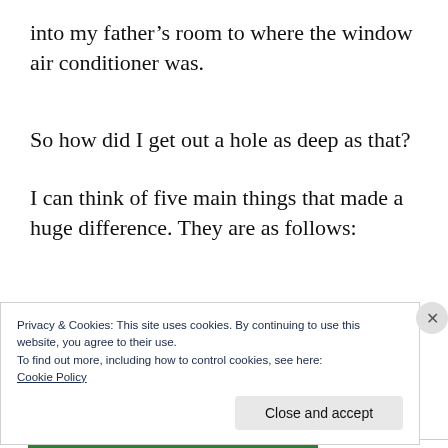into my father's room to where the window air conditioner was.
So how did I get out a hole as deep as that?
I can think of five main things that made a huge difference. They are as follows:
Privacy & Cookies: This site uses cookies. By continuing to use this website, you agree to their use.
To find out more, including how to control cookies, see here:
Cookie Policy
Close and accept